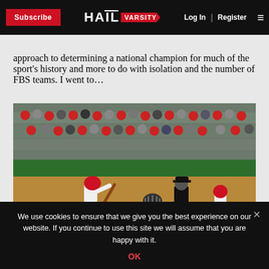Subscribe | HAIL VARSITY | Log In | Register
approach to determining a national champion for much of the sport's history and more to do with isolation and the number of FBS teams. I went to...
[Figure (photo): Baseball game scene with batter, catcher, and umpire at home plate, crowd in background]
We use cookies to ensure that we give you the best experience on our website. If you continue to use this site we will assume that you are happy with it. OK